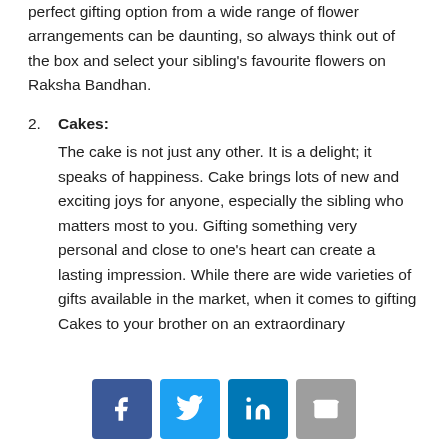perfect gifting option from a wide range of flower arrangements can be daunting, so always think out of the box and select your sibling's favourite flowers on Raksha Bandhan.
2. Cakes: The cake is not just any other. It is a delight; it speaks of happiness. Cake brings lots of new and exciting joys for anyone, especially the sibling who matters most to you. Gifting something very personal and close to one's heart can create a lasting impression. While there are wide varieties of gifts available in the market, when it comes to gifting Cakes to your brother on an extraordinary
[Figure (infographic): Social media share buttons: Facebook (blue), Twitter (light blue), LinkedIn (blue), Email (grey)]